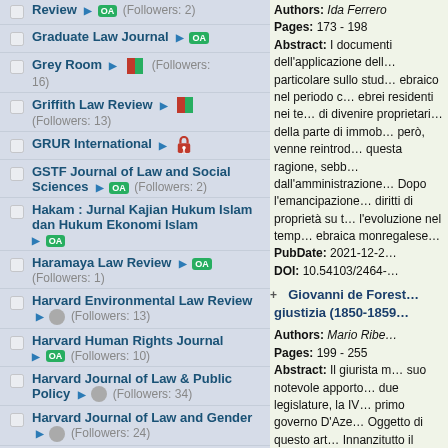Review ► OA (Followers: 2)
Graduate Law Journal ► OA
Grey Room ► [partial] (Followers: 16)
Griffith Law Review ► [partial] (Followers: 13)
GRUR International ► [lock]
GSTF Journal of Law and Social Sciences ► OA (Followers: 2)
Hakam : Jurnal Kajian Hukum Islam dan Hukum Ekonomi Islam ► OA
Haramaya Law Review ► OA (Followers: 1)
Harvard Environmental Law Review ► [grey] (Followers: 13)
Harvard Human Rights Journal ► OA (Followers: 10)
Harvard Journal of Law & Public Policy ► [grey] (Followers: 34)
Harvard Journal of Law and Gender ► [grey] (Followers: 24)
Harvard Law Review ►
Authors: Ida Ferrero
Pages: 173 - 198
Abstract: I documenti dell'applicazione dell... particolare sullo stud... ebraico nel periodo c... ebrei residenti nei te... di divenire proprietari... della parte di immobili... però, venne reintrodotto... questa ragione, sebb... dall'amministrazione... Dopo l'emancipazione... diritti di proprietà su t... l'evoluzione nel tempo... ebraica monregalese...
PubDate: 2021-12-2...
DOI: 10.54103/2464-...
Giovanni de Forest... giustizia (1850-1859...
Authors: Mario Ribe...
Pages: 199 - 255
Abstract: Il giurista m... suo notevole apporto... due legislature, la IV... primo governo D'Aze... Oggetto di questo art... Innanzitutto il progett... libertà di stampa: il d...